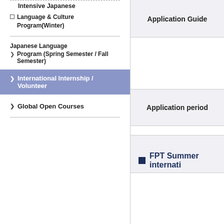Intensive Japanese
Language & Culture Program(Winter)
Japanese Language Program (Spring Semester / Fall Semester)
International Internship / Volunteer
Global Open Courses
Application Guide
Application period
FPT Summer internati